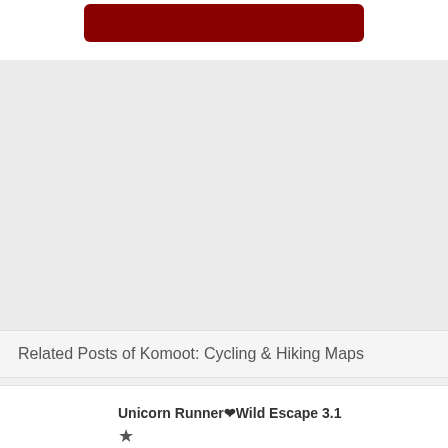[Figure (other): Partial red button/banner element visible at top of page]
Related Posts of Komoot: Cycling & Hiking Maps
Unicorn Runner❤Wild Escape 3.1 ★